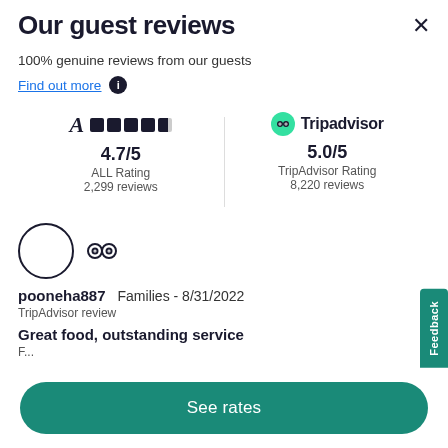Our guest reviews
100% genuine reviews from our guests
Find out more
[Figure (infographic): ALL rating: 4.7/5 with 4.7 filled dots out of 5, 2,299 reviews. TripAdvisor rating: 5.0/5, 8,220 reviews.]
[Figure (photo): Reviewer avatar circle (empty/white) with TripAdvisor owl icon beside it]
pooneha887   Families - 8/31/2022
TripAdvisor review
Great food, outstanding service
F...
See rates
Feedback